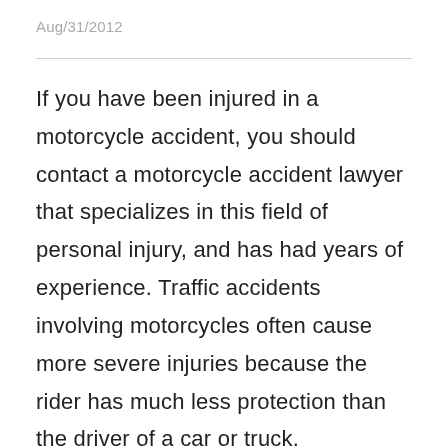Aug/31/2012
If you have been injured in a motorcycle accident, you should contact a motorcycle accident lawyer that specializes in this field of personal injury, and has had years of experience. Traffic accidents involving motorcycles often cause more severe injuries because the rider has much less protection than the driver of a car or truck. Thousands of accidents involving motorcycles occur because